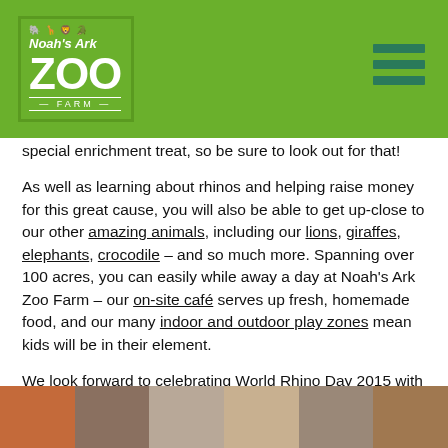Noah's Ark Zoo Farm
special enrichment treat, so be sure to look out for that!
As well as learning about rhinos and helping raise money for this great cause, you will also be able to get up-close to our other amazing animals, including our lions, giraffes, elephants, crocodile – and so much more. Spanning over 100 acres, you can easily while away a day at Noah's Ark Zoo Farm – our on-site café serves up fresh, homemade food, and our many indoor and outdoor play zones mean kids will be in their element.
We look forward to celebrating World Rhino Day 2015 with you this Saturday!
[Figure (photo): Photo strip showing animals and zoo attractions at Noah's Ark Zoo Farm]